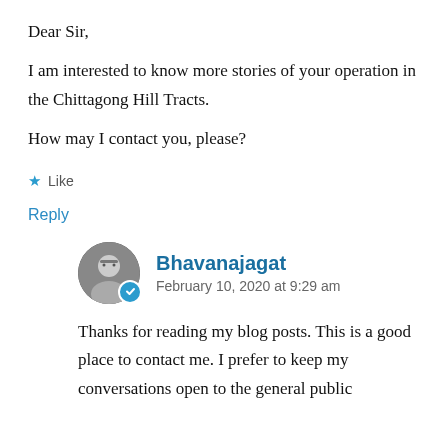Dear Sir,
I am interested to know more stories of your operation in the Chittagong Hill Tracts.
How may I contact you, please?
Like
Reply
Bhavanajagat
February 10, 2020 at 9:29 am
Thanks for reading my blog posts. This is a good place to contact me. I prefer to keep my conversations open to the general public